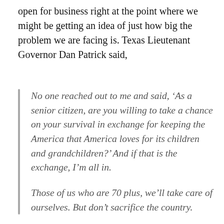open for business right at the point where we might be getting an idea of just how big the problem we are facing is. Texas Lieutenant Governor Dan Patrick said,
No one reached out to me and said, ‘As a senior citizen, are you willing to take a chance on your survival in exchange for keeping the America that America loves for its children and grandchildren?’ And if that is the exchange, I’m all in.
Those of us who are 70 plus, we’ll take care of ourselves. But don’t sacrifice the country.